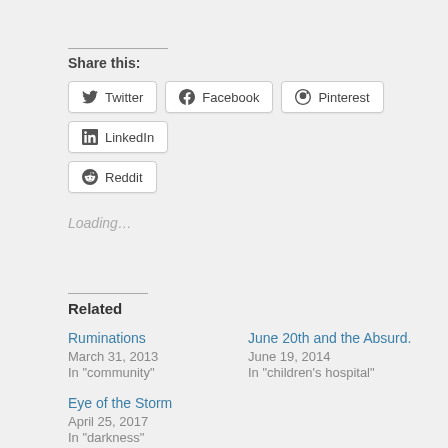Share this:
Twitter
Facebook
Pinterest
LinkedIn
Reddit
Loading…
Related
Ruminations
March 31, 2013
In "community"
June 20th and the Absurd.
June 19, 2014
In "children's hospital"
Eye of the Storm
April 25, 2017
In "darkness"